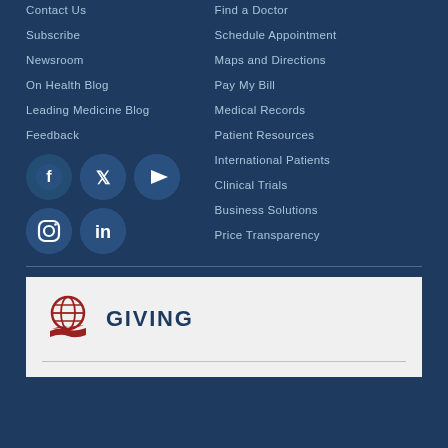Contact Us
Find a Doctor
Subscribe
Schedule Appointment
Newsroom
Maps and Directions
On Health Blog
Pay My Bill
Leading Medicine Blog
Medical Records
Feedback
Patient Resources
International Patients
Clinical Trials
Business Solutions
Price Transparency
[Figure (illustration): Social media icons: Facebook, Twitter, YouTube, Instagram, LinkedIn - white icons on dark blue circular backgrounds]
GIVING
[Figure (illustration): Globe with hands icon in red/maroon color representing giving]